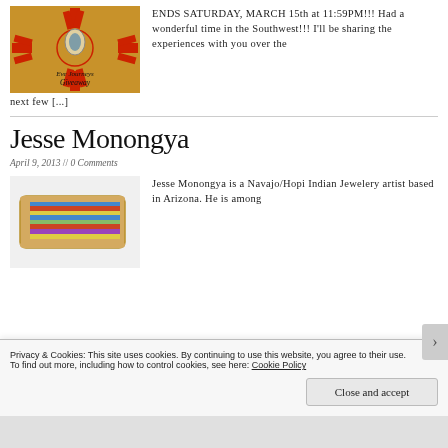[Figure (photo): Zia sun symbol on gold/yellow background with red lines, an oval pendant/ring on top, decorative text 'Eve Journeys Giveaway' below]
ENDS SATURDAY, MARCH 15th at 11:59PM!!! Had a wonderful time in the Southwest!!!  I'll be sharing the experiences with you over the next few [...]
Jesse Monongya
April 9, 2013 // 0 Comments
[Figure (photo): Close-up of a colorful striped inlaid bracelet/cuff with gold border on a white background]
Jesse Monongya is a Navajo/Hopi Indian Jewelery artist based in Arizona. He is among
Privacy & Cookies: This site uses cookies. By continuing to use this website, you agree to their use.
To find out more, including how to control cookies, see here: Cookie Policy
Close and accept